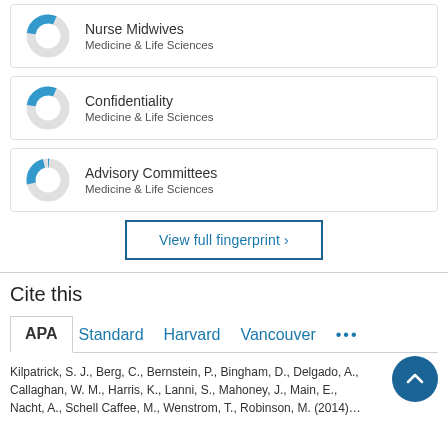[Figure (donut-chart): Donut chart showing partial fill (approx 30%) in blue for Nurse Midwives]
Nurse Midwives
Medicine & Life Sciences
[Figure (donut-chart): Donut chart showing partial fill (approx 30%) in blue for Confidentiality]
Confidentiality
Medicine & Life Sciences
[Figure (donut-chart): Donut chart showing partial fill (approx 25%) in blue for Advisory Committees]
Advisory Committees
Medicine & Life Sciences
View full fingerprint  ›
Cite this
APA   Standard   Harvard   Vancouver   •••
Kilpatrick, S. J., Berg, C., Bernstein, P., Bingham, D., Delgado, A., Callaghan, W. M., Harris, K., Lanni, S., Mahoney, J., Main, E., Nacht, A., Schell Caffee, M., Wenstrom, T., Robinson, M. (2014)...